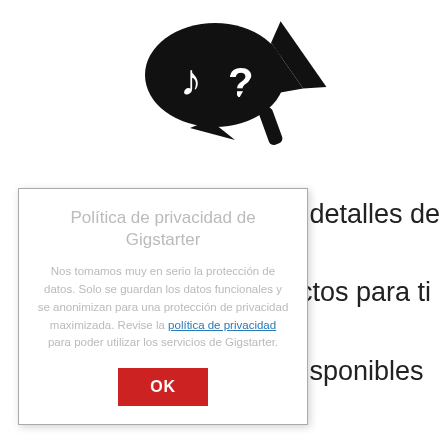[Figure (illustration): Black icon of a megaphone/loudspeaker with a speech bubble containing a music note and question mark, suggesting unknown music identification.]
los detalles de
rfectos para ti
s disponibles
Política de privacidad de Gigstarter
Nos tomamos muy en serio la protección de datos. Solo se guardan los datos funcionales y se anonimizan para una protección de privacidad maximizada. Revise la política de privacidad para poder utilizar los servicios de Gigstarter.
OK